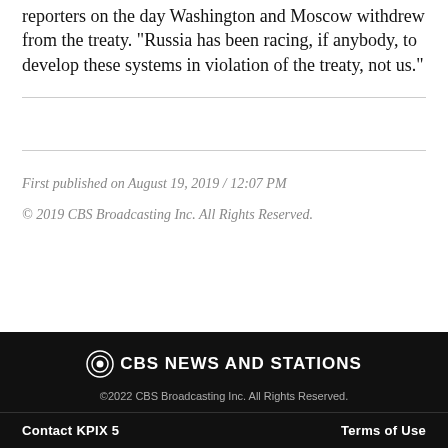reporters on the day Washington and Moscow withdrew from the treaty. "Russia has been racing, if anybody, to develop these systems in violation of the treaty, not us."
First published on August 19, 2019 / 12:07 PM
© 2019 CBS Broadcasting Inc. All Rights Reserved.
©CBS NEWS AND STATIONS
©2022 CBS Broadcasting Inc. All Rights Reserved.
Contact KPIX 5    Terms of Use